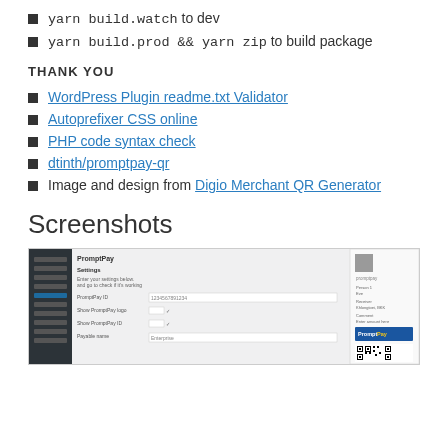yarn build.watch to dev
yarn build.prod && yarn zip to build package
THANK YOU
WordPress Plugin readme.txt Validator
Autoprefixer CSS online
PHP code syntax check
dtinth/promptpay-qr
Image and design from Digio Merchant QR Generator
Screenshots
[Figure (screenshot): Screenshot of PromptPay WordPress plugin settings and frontend display with QR code]